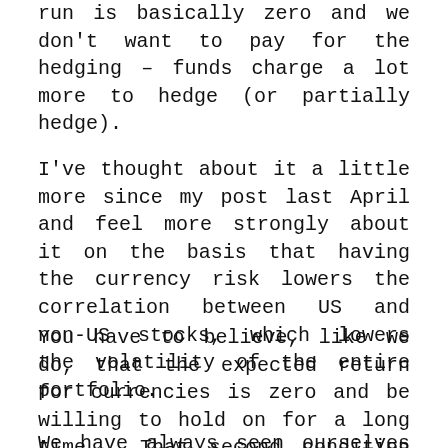run is basically zero and we don't want to pay for the hedging – funds charge a lot more to hedge (or partially hedge).
I've thought about it a little more since my post last April and feel more strongly about it on the basis that having the currency risk lowers the correlation between US and non-US stocks, which lowers the volatility of the entire portfolio.
You have to believe, like we do, that the expected return for currencies is zero and be willing to hold on for a long time. That second condition is hard to live through.
We have always seen ourselves as long